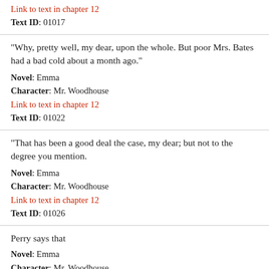Link to text in chapter 12
Text ID: 01017
"Why, pretty well, my dear, upon the whole. But poor Mrs. Bates had a bad cold about a month ago."
Novel: Emma
Character: Mr. Woodhouse
Link to text in chapter 12
Text ID: 01022
"That has been a good deal the case, my dear; but not to the degree you mention.
Novel: Emma
Character: Mr. Woodhouse
Link to text in chapter 12
Text ID: 01026
Perry says that
Novel: Emma
Character: Mr. Woodhouse
Link to text in chapter 12
Text ID: 01027